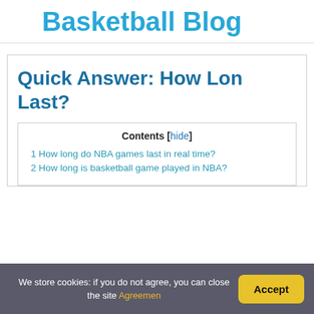Basketball Blog
Quick Answer: How Long Last?
Contents [hide]
1 How long do NBA games last in real time?
2 How long is basketball game played in NBA?
We store cookies: if you do not agree, you can close the site Agreement